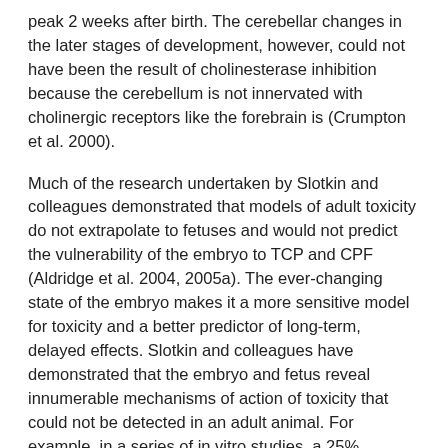peak 2 weeks after birth. The cerebellar changes in the later stages of development, however, could not have been the result of cholinesterase inhibition because the cerebellum is not innervated with cholinergic receptors like the forebrain is (Crumpton et al. 2000).
Much of the research undertaken by Slotkin and colleagues demonstrated that models of adult toxicity do not extrapolate to fetuses and would not predict the vulnerability of the embryo to TCP and CPF (Aldridge et al. 2004, 2005a). The ever-changing state of the embryo makes it a more sensitive model for toxicity and a better predictor of long-term, delayed effects. Slotkin and colleagues have demonstrated that the embryo and fetus reveal innumerable mechanisms of action of toxicity that could not be detected in an adult animal. For example, in a series of in vitro studies, a 25% increase in reactive oxygen species (ROS) was found 10 min after undifferentiated glial C6 cells were exposed to CPF (Garcia SJ et al. 2001).